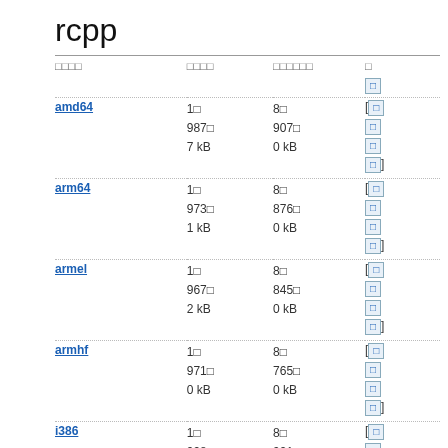rcpp
| □□□□ | □□□□ | □□□□□□ | □ |
| --- | --- | --- | --- |
| amd64 | 1□ | 8□ | [□ |
|  | 987□ | 907□ | □ |
|  | 7 kB | 0 kB | □ |
|  |  |  | □] |
| arm64 | 1□ | 8□ | [□ |
|  | 973□ | 876□ | □ |
|  | 1 kB | 0 kB | □ |
|  |  |  | □] |
| armel | 1□ | 8□ | [□ |
|  | 967□ | 845□ | □ |
|  | 2 kB | 0 kB | □ |
|  |  |  | □] |
| armhf | 1□ | 8□ | [□ |
|  | 971□ | 765□ | □ |
|  | 0 kB | 0 kB | □ |
|  |  |  | □] |
| i386 | 1□ | 8□ | [□ |
|  | 998□ | 921□ | □ |
|  | 1 kB | 0 kB | □ |
|  |  |  | □] |
| mips64el | 1□ | 8□ | [□ |